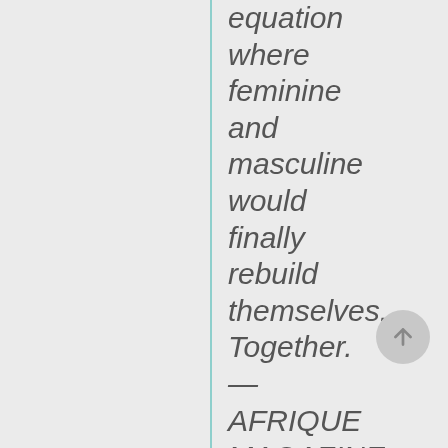equation where feminine and masculine would finally rebuild themselves. Together. — AFRIQUE MAGAZINE The novelist auscultates